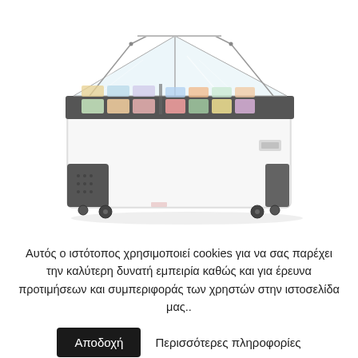[Figure (photo): Commercial ice cream display freezer chest with angled glass lid, white body with dark gray trim, showing colorful ice cream tubs inside, on casters]
Αυτός ο ιστότοπος χρησιμοποιεί cookies για να σας παρέχει την καλύτερη δυνατή εμπειρία καθώς και για έρευνα προτιμήσεων και συμπεριφοράς των χρηστών στην ιστοσελίδα μας..
Αποδοχή   Περισσότερες πληροφορίες